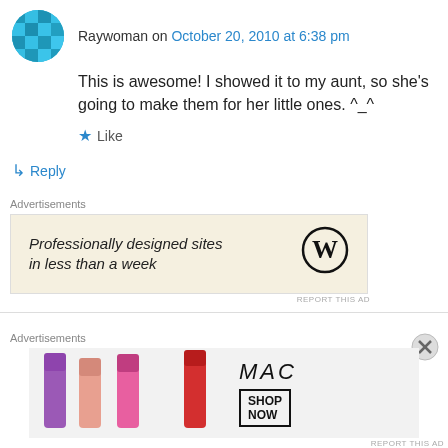Raywoman on October 20, 2010 at 6:38 pm
This is awesome! I showed it to my aunt, so she's going to make them for her little ones. ^_^
Like
Reply
Advertisements
[Figure (other): WordPress advertisement: Professionally designed sites in less than a week with WordPress logo]
REPORT THIS AD
The Simple Life of a Country Man's Wife on October 20, 2010 at 6:46 pm
Advertisements
[Figure (other): MAC cosmetics advertisement showing lipsticks with SHOP NOW button]